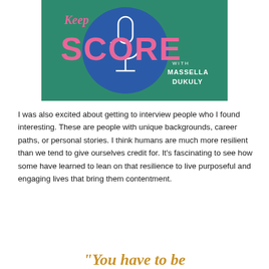[Figure (illustration): Podcast cover art for 'Keep Score with Massella Dukuly'. Teal/green background with large blue circle, white microphone outline, pink bold text 'SCORE' and partial text above, white text 'WITH MASSELLA DUKULY' in lower right.]
I was also excited about getting to interview people who I found interesting. These are people with unique backgrounds, career paths, or personal stories. I think humans are much more resilient than we tend to give ourselves credit for. It's fascinating to see how some have learned to lean on that resilience to live purposeful and engaging lives that bring them contentment.
"You have to be